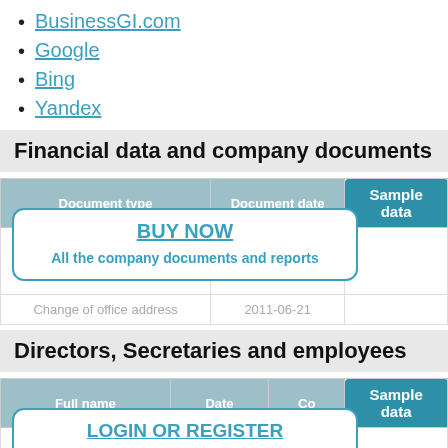BusinessGI.com
Google
Bing
Yandex
Financial data and company documents
| Document type | Document date | Sample data |
| --- | --- | --- |
|  |  |  |
| Change of office address | 2011-06-21 |  |
[Figure (other): BUY NOW overlay box: 'BUY NOW' link and 'All the company documents and reports' text inside a rounded border box]
Directors, Secretaries and employees
| Full name | Date | Co | Sample data |
| --- | --- | --- | --- |
[Figure (other): LOGIN OR REGISTER overlay box: 'LOGIN OR REGISTER' link and 'And get access to useful company' text inside a rounded border box]